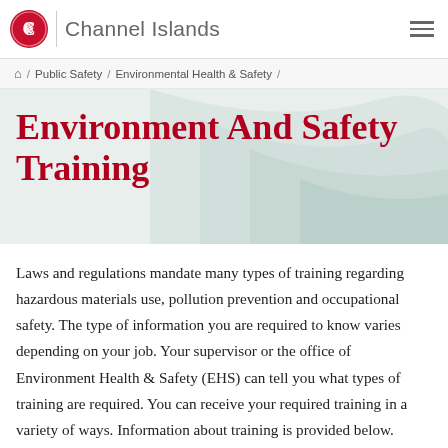CSU Channel Islands
/ Public Safety / Environmental Health & Safety /
Environment And Safety Training
Laws and regulations mandate many types of training regarding hazardous materials use, pollution prevention and occupational safety. The type of information you are required to know varies depending on your job. Your supervisor or the office of Environment Health & Safety (EHS) can tell you what types of training are required. You can receive your required training in a variety of ways. Information about training is provided below.